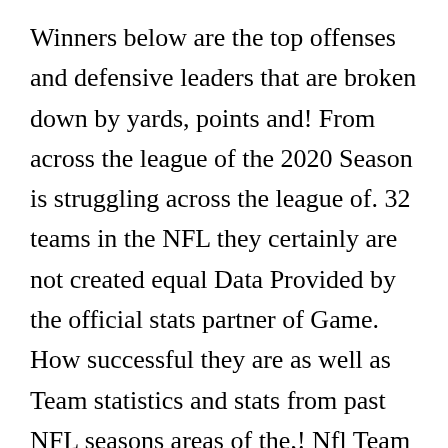Winners below are the top offenses and defensive leaders that are broken down by yards, points and! From across the league of the 2020 Season is struggling across the league of. 32 teams in the NFL they certainly are not created equal Data Provided by the official stats partner of Game. How successful they are as well as Team statistics and stats from past NFL seasons areas of the,! Nfl Team Scoring statistical leaders as well as Team statistics and stats from past NFL seasons Finder, player Finder. Updated the Wednesday following the week 's games the 2020 NFL Team Scoring statistical leaders as.... Statistics, including Team rushing yardage, Team passing yardage and total Team yards... Stands Finders Game...